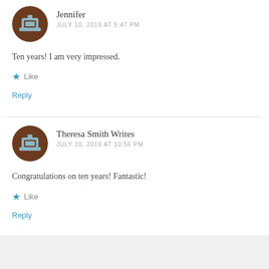[Figure (illustration): Round avatar with brown background and grey/blue graphic icon representing a user]
Jennifer
JULY 10, 2019 AT 5:47 PM
Ten years! I am very impressed.
Like
Reply
[Figure (illustration): Round avatar with brown background and grey/blue graphic icon representing a user]
Theresa Smith Writes
JULY 10, 2019 AT 10:56 PM
Congratulations on ten years! Fantastic!
Like
Reply